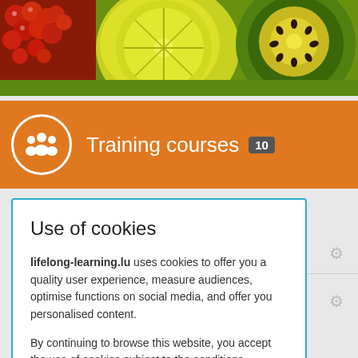[Figure (photo): Close-up photo of fruits: red currants, sliced lime/lemon, and kiwi fruit]
Training courses 10
Use of cookies
lifelong-learning.lu uses cookies to offer you a quality user experience, measure audiences, optimise functions on social media, and offer you personalised content.

By continuing to browse this website, you accept the use of cookies subject to the conditions provided for in our policy on the subject. Find out more.